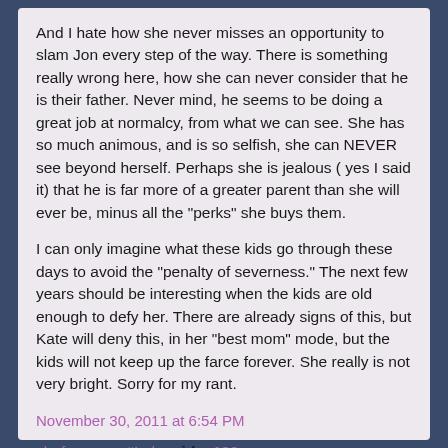And I hate how she never misses an opportunity to slam Jon every step of the way. There is something really wrong here, how she can never consider that he is their father. Never mind, he seems to be doing a great job at normalcy, from what we can see. She has so much animous, and is so selfish, she can NEVER see beyond herself. Perhaps she is jealous ( yes I said it) that he is far more of a greater parent than she will ever be, minus all the "perks" she buys them.
I can only imagine what these kids go through these days to avoid the "penalty of severness." The next few years should be interesting when the kids are old enough to defy her. There are already signs of this, but Kate will deny this, in her "best mom" mode, but the kids will not keep up the farce forever. She really is not very bright. Sorry for my rant.
November 30, 2011 at 6:54 PM
chefsummer #Leh said... 126